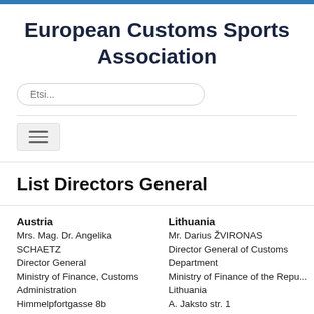European Customs Sports Association
List Directors General
Austria
Mrs. Mag. Dr. Angelika SCHAETZ
Director General
Ministry of Finance, Customs Administration
Himmelpfortgasse 8b
A-1010 Wien – AUSTRIA
angelika.schaetz(at)bmf.gv.at
Belgium
Monsieur Kristian VANDERWAERENA
Lithuania
Mr. Darius ŽVIRONAS
Director General of Customs Department
Ministry of Finance of the Republic Lithuania
A. Jaksto str. 1
LT-01105 Vilnius
Lithuania